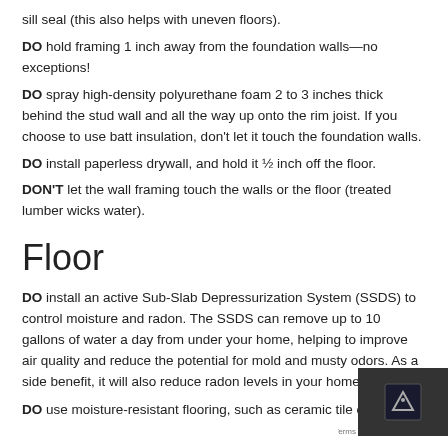sill seal (this also helps with uneven floors).
DO hold framing 1 inch away from the foundation walls—no exceptions!
DO spray high-density polyurethane foam 2 to 3 inches thick behind the stud wall and all the way up onto the rim joist. If you choose to use batt insulation, don't let it touch the foundation walls.
DO install paperless drywall, and hold it ½ inch off the floor.
DON'T let the wall framing touch the walls or the floor (treated lumber wicks water).
Floor
DO install an active Sub-Slab Depressurization System (SSDS) to control moisture and radon. The SSDS can remove up to 10 gallons of water a day from under your home, helping to improve air quality and reduce the potential for mold and musty odors. As a side benefit, it will also reduce radon levels in your home!
DO use moisture-resistant flooring, such as ceramic tile or